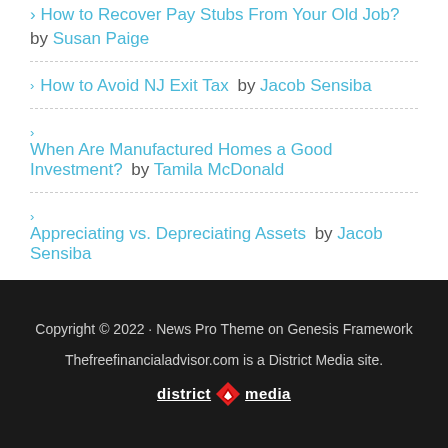How to Recover Pay Stubs From Your Old Job? by Susan Paige
How to Avoid NJ Exit Tax by Jacob Sensiba
When Are Manufactured Homes a Good Investment? by Tamila McDonald
Appreciating vs. Depreciating Assets by Jacob Sensiba
Copyright © 2022 · News Pro Theme on Genesis Framework
Thefreefinancialadvisor.com is a District Media site.